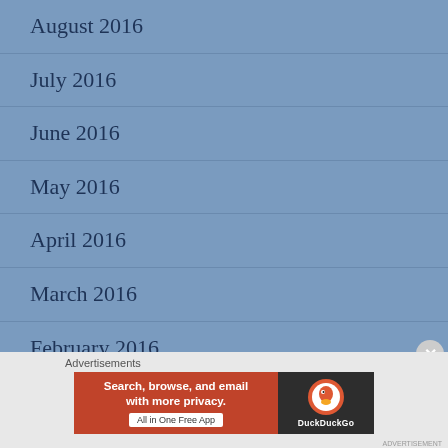August 2016
July 2016
June 2016
May 2016
April 2016
March 2016
February 2016
Advertisements
[Figure (infographic): DuckDuckGo advertisement banner: orange left side with text 'Search, browse, and email with more privacy. All in One Free App' and dark right side with DuckDuckGo duck logo]